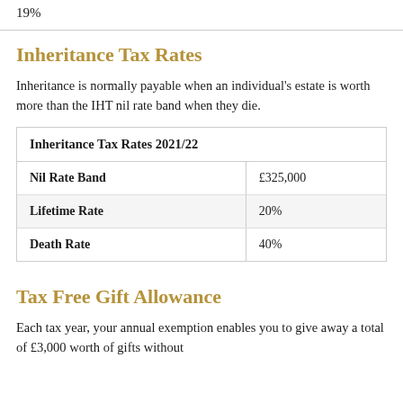19%
Inheritance Tax Rates
Inheritance is normally payable when an individual's estate is worth more than the IHT nil rate band when they die.
| Inheritance Tax Rates 2021/22 |  |
| --- | --- |
| Nil Rate Band | £325,000 |
| Lifetime Rate | 20% |
| Death Rate | 40% |
Tax Free Gift Allowance
Each tax year, your annual exemption enables you to give away a total of £3,000 worth of gifts without